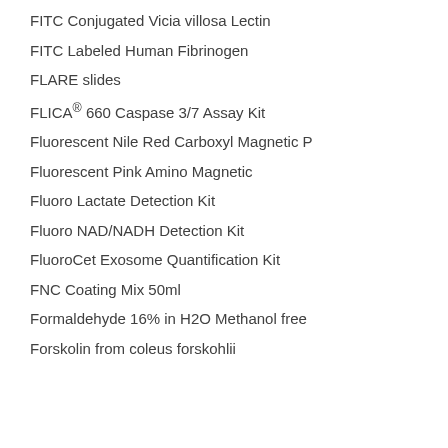FITC Conjugated Vicia villosa Lectin
FITC Labeled Human Fibrinogen
FLARE slides
FLICA® 660 Caspase 3/7 Assay Kit
Fluorescent Nile Red Carboxyl Magnetic P
Fluorescent Pink Amino Magnetic
Fluoro Lactate Detection Kit
Fluoro NAD/NADH Detection Kit
FluoroCet Exosome Quantification Kit
FNC Coating Mix 50ml
Formaldehyde 16% in H2O Methanol free
Forskolin from coleus forskohlii